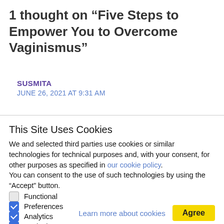1 thought on “Five Steps to Empower You to Overcome Vaginismus”
SUSMITA
JUNE 26, 2021 AT 9:31 AM
This Site Uses Cookies
We and selected third parties use cookies or similar technologies for technical purposes and, with your consent, for other purposes as specified in our cookie policy.
You can consent to the use of such technologies by using the “Accept” button.
Functional
Preferences
Analytics
Marketing
Learn more about cookies
Agree